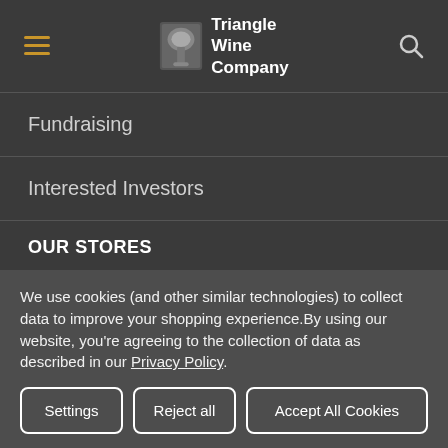[Figure (logo): Triangle Wine Company logo with hamburger menu icon on left and search icon on right]
Fundraising
Interested Investors
OUR STORES
Store Locations
Events Calendar
We use cookies (and other similar technologies) to collect data to improve your shopping experience.By using our website, you're agreeing to the collection of data as described in our Privacy Policy.
Settings | Reject all | Accept All Cookies